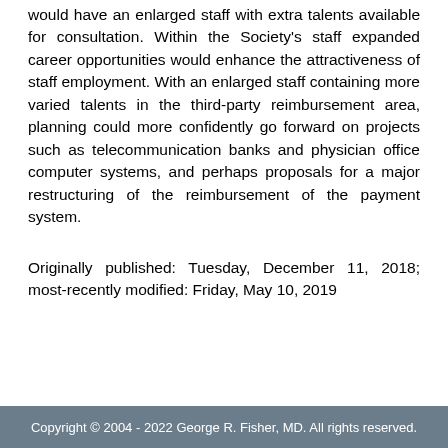would have an enlarged staff with extra talents available for consultation. Within the Society's staff expanded career opportunities would enhance the attractiveness of staff employment. With an enlarged staff containing more varied talents in the third-party reimbursement area, planning could more confidently go forward on projects such as telecommunication banks and physician office computer systems, and perhaps proposals for a major restructuring of the reimbursement of the payment system.
Originally published: Tuesday, December 11, 2018; most-recently modified: Friday, May 10, 2019
Copyright © 2004 - 2022 George R. Fisher, MD. All rights reserved.